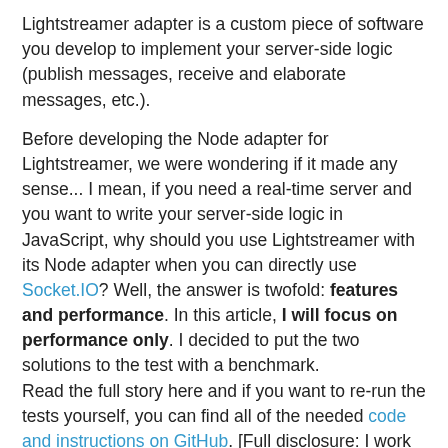Lightstreamer adapter is a custom piece of software you develop to implement your server-side logic (publish messages, receive and elaborate messages, etc.).
Before developing the Node adapter for Lightstreamer, we were wondering if it made any sense... I mean, if you need a real-time server and you want to write your server-side logic in JavaScript, why should you use Lightstreamer with its Node adapter when you can directly use Socket.IO? Well, the answer is twofold: features and performance. In this article, I will focus on performance only. I decided to put the two solutions to the test with a benchmark.
Read the full story here and if you want to re-run the tests yourself, you can find all of the needed code and instructions on GitHub. [Full disclosure: I work as a developer on Lightstreamer.]
Background
My goal was to compare Socket.IO and Lightstreamer running on a multi-core machine, having the clients connected remotely. I wanted to verify the latencies and the CPU utilization on different client loads.